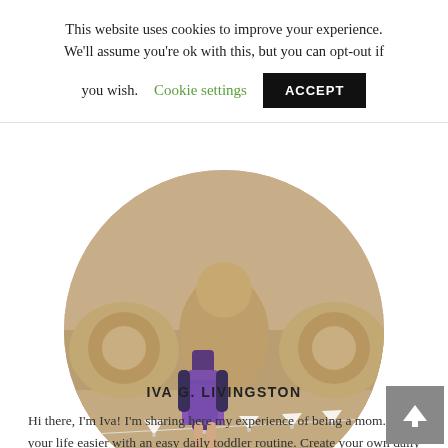This website uses cookies to improve your experience. We'll assume you're ok with this, but you can opt-out if you wish. Cookie settings ACCEPT
[Figure (photo): Circular cropped photo of a person in a sparkly purple skirt standing in front of sand sculptures at a beach festival with bunting/pennant flags strung across the foreground.]
IVA G. LIVINGSTON
Hi there, I'm Iva! I'm sharing here my experience of being a mom. Make your life easier with an easy daily toddler routine. Create your own daily toddler schedule with fun, educational toddler activities, easy toddler meal ideas and practical things to do with your toddler. We have some of the best ideas for fun, easy and no-prep toddler activities.